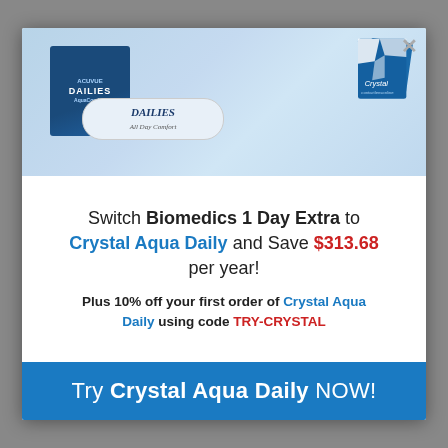[Figure (photo): Contact lens product photo showing Dailies AquaComfort Plus box and strip packaging on the left, and Crystal Aqua Daily geometric blue box packaging on the right, on a light blue background.]
Switch Biomedics 1 Day Extra to Crystal Aqua Daily and Save $313.68 per year!
Plus 10% off your first order of Crystal Aqua Daily using code TRY-CRYSTAL
Try Crystal Aqua Daily NOW!